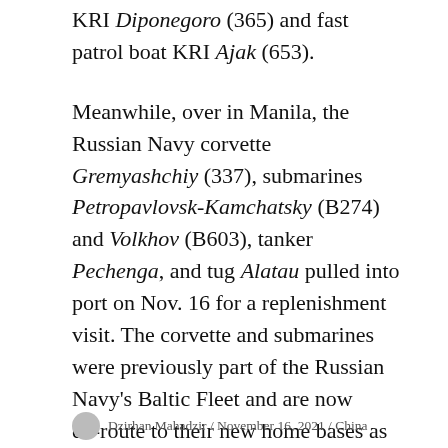KRI Diponegoro (365) and fast patrol boat KRI Ajak (653).
Meanwhile, over in Manila, the Russian Navy corvette Gremyashchiy (337), submarines Petropavlovsk-Kamchatsky (B274) and Volkhov (B603), tanker Pechenga, and tug Alatau pulled into port on Nov. 16 for a replenishment visit. The corvette and submarines were previously part of the Russian Navy's Baltic Fleet and are now en-route to their new home bases as part of Russia's Pacific Fleet. A Russian Ministry of Defense news release said Manila will be the last foreign port the ships will call on during the voyage to their new home base.
Dzirhan Mahadzir / November 16, 2021 / China